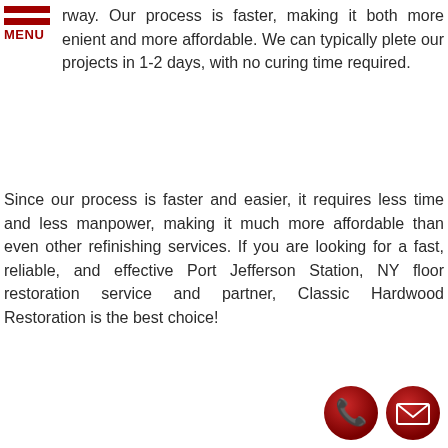rway. Our process is faster, making it both more enient and more affordable. We can typically plete our projects in 1-2 days, with no curing time required.
Since our process is faster and easier, it requires less time and less manpower, making it much more affordable than even other refinishing services. If you are looking for a fast, reliable, and effective Port Jefferson Station, NY floor restoration service and partner, Classic Hardwood Restoration is the best choice!
[Figure (other): Red button with text REQUEST A CONSULTATION and pointer icon]
Let's Talk Now- Free Consultation
[Figure (other): Red phone icon circle and red email/envelope icon circle]